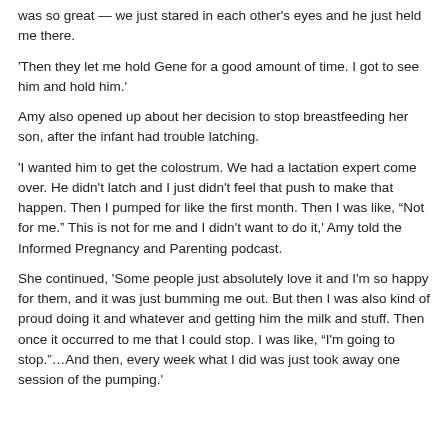was so great — we just stared in each other's eyes and he just held me there.
'Then they let me hold Gene for a good amount of time. I got to see him and hold him.'
Amy also opened up about her decision to stop breastfeeding her son, after the infant had trouble latching.
'I wanted him to get the colostrum. We had a lactation expert come over. He didn't latch and I just didn't feel that push to make that happen. Then I pumped for like the first month. Then I was like, “Not for me.” This is not for me and I didn't want to do it,' Amy told the Informed Pregnancy and Parenting podcast.
She continued, 'Some people just absolutely love it and I'm so happy for them, and it was just bumming me out. But then I was also kind of proud doing it and whatever and getting him the milk and stuff. Then once it occurred to me that I could stop. I was like, “I'm going to stop.”…And then, every week what I did was just took away one session of the pumping.'